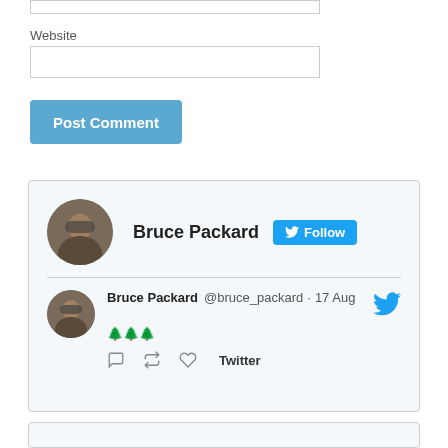Website
[Figure (screenshot): Website text input field]
[Figure (screenshot): Post Comment button, blue with white text]
[Figure (screenshot): Twitter widget showing Bruce Packard's profile with Follow button and a tweet from @bruce_packard dated 17 Aug with emoji content and reply/retweet/like action icons]
[Figure (screenshot): Partial bottom widget box]